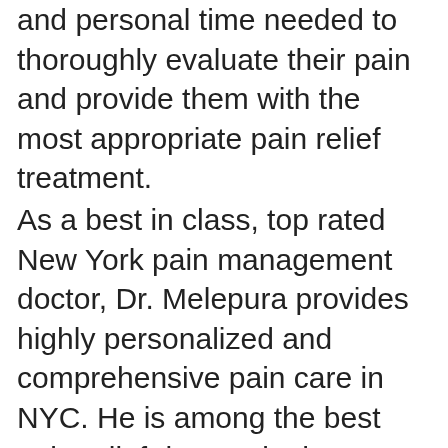…located in New York as well as the care and personal time needed to thoroughly evaluate their pain and provide them with the most appropriate pain relief treatment.
As a best in class, top rated New York pain management doctor, Dr. Melepura provides highly personalized and comprehensive pain care in NYC. He is among the best pain relief doctors in the country. Dr Melepura offers the most effective sports pain management treatments available in the USA. Come see our brand new cutting edge, state-of-the-art sports injury and pain management clinic in NYC.
We are an internationally recognized as best in class pain management doctors & pain relief specialists. Sports injury specialist Dr. Melepura is a member of our